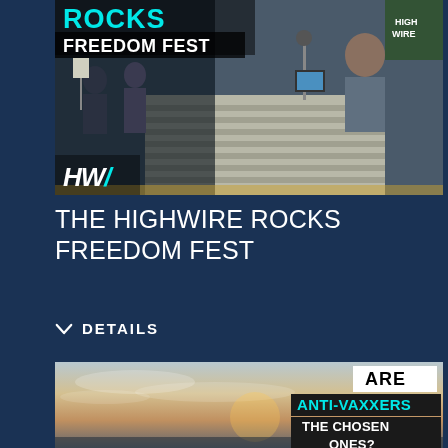[Figure (photo): Photo of a live event stage with a speaker at a desk/counter, music stands visible on left. Text overlay shows 'ROCKS FREEDOM FEST' in cyan and white on dark background, with HW logo at bottom left. Event appears to be The Highwire at Freedom Fest.]
THE HIGHWIRE ROCKS FREEDOM FEST
DETAILS
[Figure (photo): Sunset/sky photo with text overlay asking 'ARE ANTI-VAXXERS THE CHOSEN ONES?' — 'ARE' in white on white box, 'ANTI-VAXXERS' in cyan on dark box, 'THE CHOSEN ONES?' in white on dark box.]